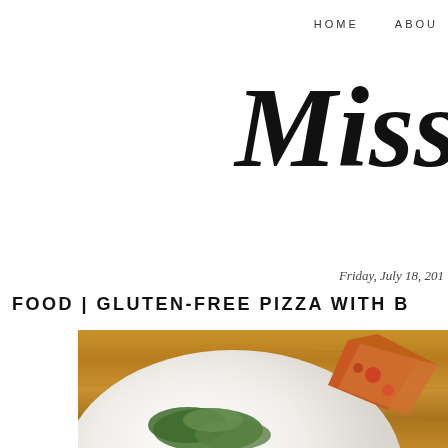HOME    ABOUT
Miss
Friday, July 18, 201
FOOD | GLUTEN-FREE PIZZA WITH B
[Figure (photo): A white plate with pizza slice and green salad on a wooden table background]